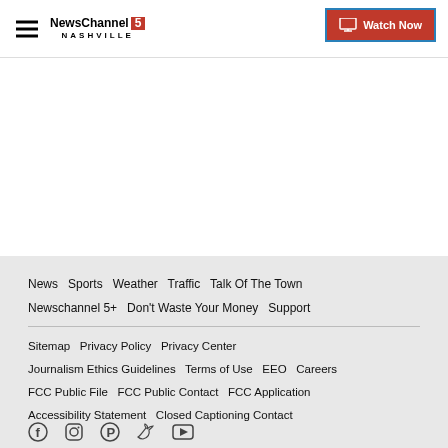NewsChannel 5 Nashville | Watch Now
News  Sports  Weather  Traffic  Talk Of The Town  Newschannel 5+  Don't Waste Your Money  Support
Sitemap  Privacy Policy  Privacy Center  Journalism Ethics Guidelines  Terms of Use  EEO  Careers  FCC Public File  FCC Public Contact  FCC Application  Accessibility Statement  Closed Captioning Contact
Social media icons: Facebook, Instagram, Pinterest, Twitter, YouTube